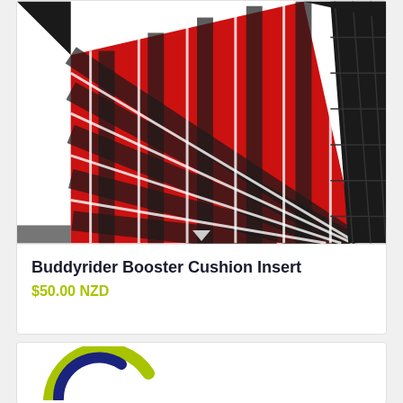[Figure (photo): A Buddyrider Booster Cushion Insert product photo showing a red and black tartan plaid padded cushion insert with black quilted fabric sides, photographed against a white background.]
Buddyrider Booster Cushion Insert
$50.00 NZD
[Figure (logo): Partial logo visible at bottom of page showing a curved arc design in lime green and dark blue/navy colors, partially cropped.]